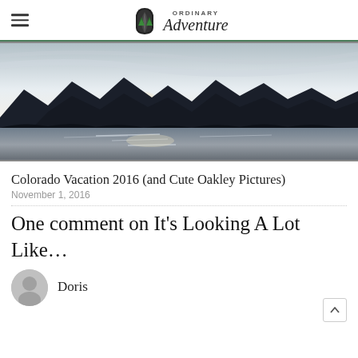Ordinary Adventure
[Figure (photo): Mountain lake landscape at dusk or dawn with dark mountain silhouettes and bright sky reflecting on water]
Colorado Vacation 2016 (and Cute Oakley Pictures)
November 1, 2016
One comment on It’s Looking A Lot Like…
Doris